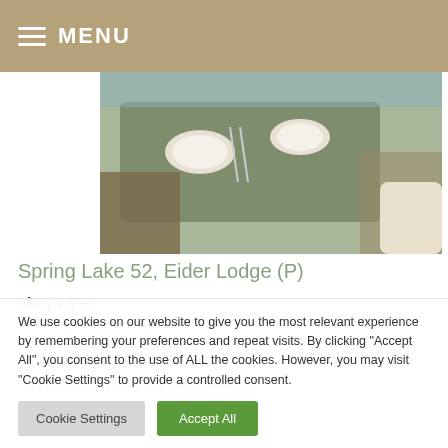MENU
[Figure (photo): Outdoor dining table with wicker chairs, white plates and cutlery on a glass-top table, lakeside setting visible in background]
Spring Lake 52, Eider Lodge (P)
Sleeps 6 +1
Parking close to lodge
South facing Lakeside lodge
3 x bedrooms, 2 x bathrooms
1 x double, 1 x twin, & 1 x triple sleeper
We use cookies on our website to give you the most relevant experience by remembering your preferences and repeat visits. By clicking "Accept All", you consent to the use of ALL the cookies. However, you may visit "Cookie Settings" to provide a controlled consent.
Cookie Settings | Accept All